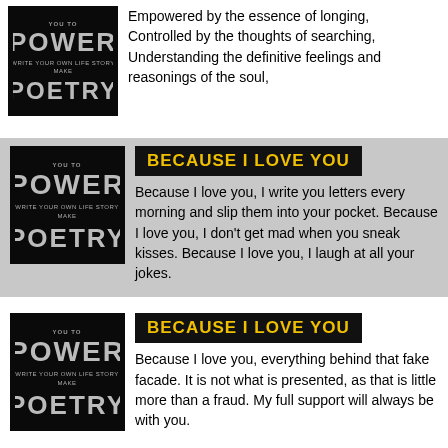[Figure (illustration): Book cover for 'Power to Write Your Own Life Story Poetry']
Empowered by the essence of longing, Controlled by the thoughts of searching, Understanding the definitive feelings and reasonings of the soul,
[Figure (illustration): Book cover for 'Power to Write Your Own Life Story Poetry']
BECAUSE I LOVE YOU
Because I love you, I write you letters every morning and slip them into your pocket. Because I love you, I don't get mad when you sneak kisses. Because I love you, I laugh at all your jokes.
[Figure (illustration): Book cover for 'Power to Write Your Own Life Story Poetry']
BECAUSE I LOVE YOU
Because I love you, everything behind that fake facade. It is not what is presented, as that is little more than a fraud. My full support will always be with you.